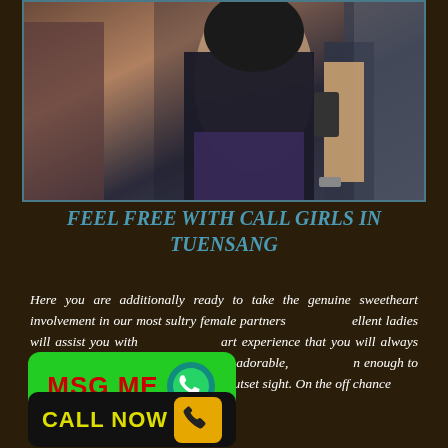[Figure (photo): Photo of a woman in dark clothing in an urban setting]
FEEL FREE WITH CALL GIRLS IN TUENSANG
Here you are additionally ready to take the genuine sweetheart involvement in our most sultry female partners ...ellent ladies will assist you with ...art experience that you will always ...ur young ladies are really adorable, ...n enough to experience passionate ...the outset sight. On the off chance